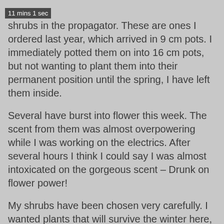11 mins 1 sec
shrubs in the propagator. These are ones I ordered last year, which arrived in 9 cm pots. I immediately potted them on into 16 cm pots, but not wanting to plant them into their permanent position until the spring, I have left them inside.
Several have burst into flower this week. The scent from them was almost overpowering while I was working on the electrics. After several hours I think I could say I was almost intoxicated on the gorgeous scent – Drunk on flower power!
My shrubs have been chosen very carefully. I wanted plants that will survive the winter here, but more especially the summer heat. I also wanted shrubs which flower in winter, to add interest to what will be my garden area, and where possible to have a scent.
The Hamamelis x intermedia Pallida and the Sarcococca confusa – Christmas Box – not only look nice, but they give off an